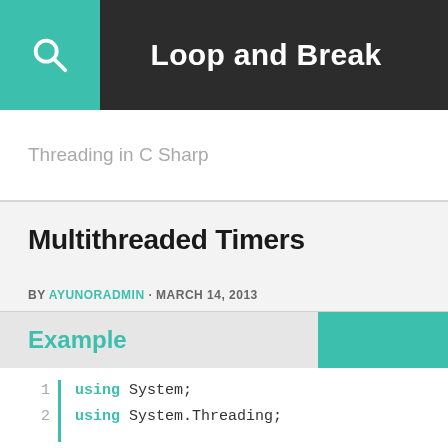Loop and Break
Threading in C Sharp
Multithreaded Timers
BY AYUNORADMIN · MARCH 14, 2013
System.Threading.Timer is the simplest multithreaded timer: it has just a constructor and two methods. In the following example, a timer calls the Tick method, which writes "tick..." after five seconds have elapsed, and then every second after that, until the user presses Enter:
Example
using System;
using System.Threading;